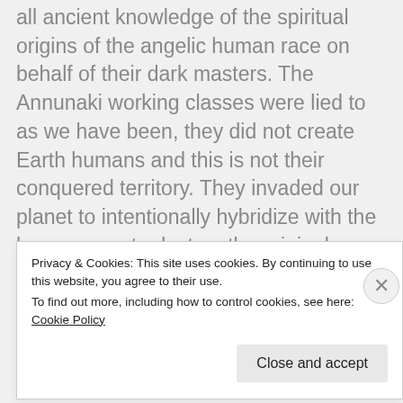all ancient knowledge of the spiritual origins of the angelic human race on behalf of their dark masters. The Annunaki working classes were lied to as we have been, they did not create Earth humans and this is not their conquered territory. They invaded our planet to intentionally hybridize with the human race to destroy the original genetic template of the Founding races, so they could gain complete control over the planetary body as well as several multidimensional timelines.
Privacy & Cookies: This site uses cookies. By continuing to use this website, you agree to their use.
To find out more, including how to control cookies, see here: Cookie Policy
Close and accept
lionstrace.c...